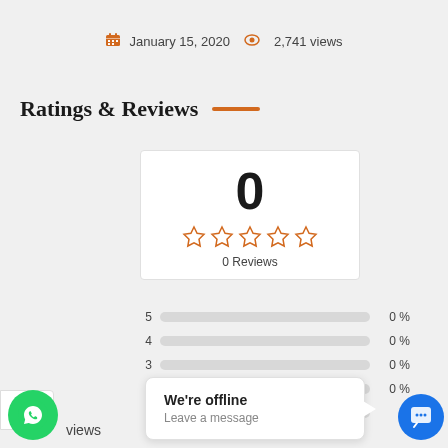January 15, 2020  2,741 views
Ratings & Reviews
[Figure (infographic): Rating card showing 0 overall score, 5 empty stars, and 0 Reviews text]
| Stars | Percentage |
| --- | --- |
| 5 | 0 % |
| 4 | 0 % |
| 3 | 0 % |
| 2 | 0 % |
| 1 | 0 % |
[Figure (other): We're offline chat popup with Leave a message subtext]
[Figure (logo): WhatsApp green round button]
[Figure (other): Blue chat button bottom right]
views